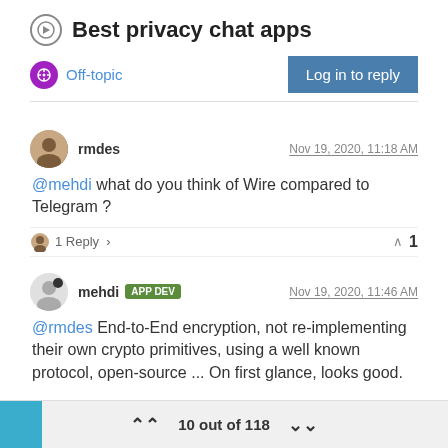Best privacy chat apps
Off-topic
Log in to reply
rmdes   Nov 19, 2020, 11:18 AM
@mehdi what do you think of Wire compared to Telegram ?
1 Reply >   ^ 1
mehdi APP DEV   Nov 19, 2020, 11:46 AM
@rmdes End-to-End encryption, not re-implementing their own crypto primitives, using a well known protocol, open-source ... On first glance, looks good.
10 out of 118